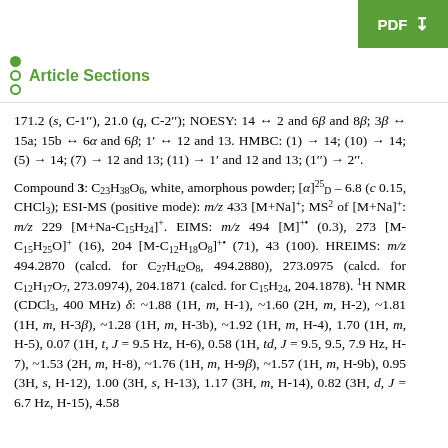+ Journal Menu  PDF ↓
Article Sections
171.2 (s, C-1′′), 21.0 (q, C-2′′); NOESY: 14 ↔ 2 and 6β and 8β; 3β ↔ 15a; 15b ↔ 6α and 6β; 1′ ↔ 12 and 13. HMBC: (1) → 14; (10) → 14; (5) → 14; (7) → 12 and 13; (11) → 1′ and 12 and 13; (1′′) → 2′′.
Compound 3: C23H38O6, white, amorphous powder; [α]25D – 6.8 (c 0.15, CHCl3); ESI-MS (positive mode): m/z 433 [M+Na]+; MS2 of [M+Na]+: m/z 229 [M+Na-C15H24]+. EIMS: m/z 494 [M]+• (0.3), 273 [M-C15H25O]+ (16), 204 [M-C12H18O8]+• (71), 43 (100). HREIMS: m/z 494.2870 (calcd. for C27H42O8, 494.2880), 273.0975 (calcd. for C12H17O7, 273.0974), 204.1871 (calcd. for C15H24, 204.1878). 1H NMR (CDCl3, 400 MHz) δ: ~1.88 (1H, m, H-1), ~1.60 (2H, m, H-2), ~1.81 (1H, m, H-3β), ~1.28 (1H, m, H-3b), ~1.92 (1H, m, H-4), 1.70 (1H, m, H-5), 0.07 (1H, t, J = 9.5 Hz, H-6), 0.58 (1H, td, J = 9.5, 9.5, 7.9 Hz, H-7), ~1.53 (2H, m, H-8), ~1.76 (1H, m, H-9β), ~1.57 (1H, m, H-9b), 0.95 (3H, s, H-12), 1.00 (3H, s, H-13), 1.17 (3H, m, H-14), 0.82 (3H, d, J = 6.7 Hz, H-15), 4.58